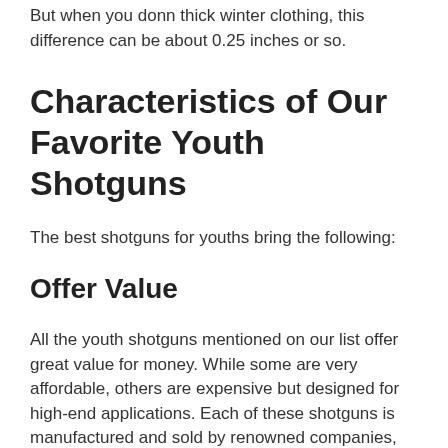But when you donn thick winter clothing, this difference can be about 0.25 inches or so.
Characteristics of Our Favorite Youth Shotguns
The best shotguns for youths bring the following:
Offer Value
All the youth shotguns mentioned on our list offer great value for money. While some are very affordable, others are expensive but designed for high-end applications. Each of these shotguns is manufactured and sold by renowned companies, known for their good